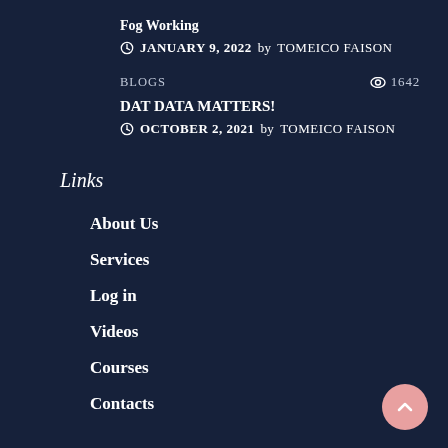Fog Working
JANUARY 9, 2022 by TOMEICO FAISON
BLOGS   👁 1642
DAT DATA MATTERS!
OCTOBER 2, 2021 by TOMEICO FAISON
Links
About Us
Services
Log in
Videos
Courses
Contacts